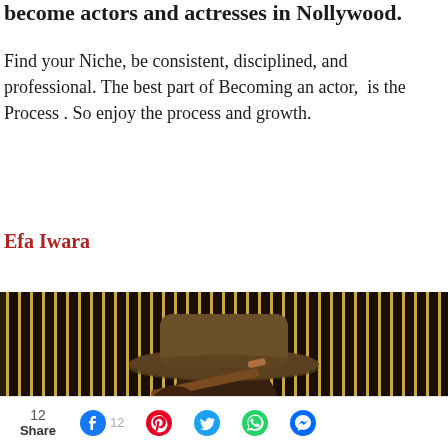become actors and actresses in Nollywood.
Find your Niche, be consistent, disciplined, and professional. The best part of Becoming an actor,  is the Process . So enjoy the process and growth.
Efa Iwara
[Figure (photo): Portrait photo of Efa Iwara wearing a wide-brimmed hat and holding a cigar, with a striped dark background of alternating dark brown and gold vertical stripes.]
12 Share  [Facebook] 12  [Pinterest]  [Twitter]  [WhatsApp]  [Messenger]